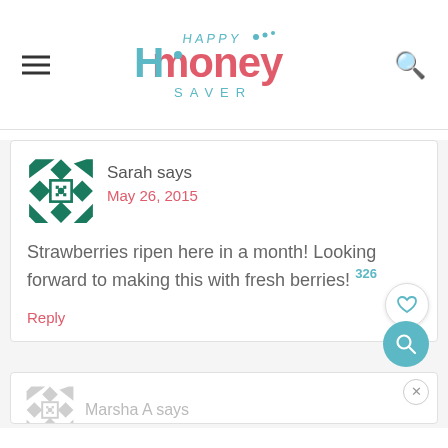Happy Money Saver
Sarah says
May 26, 2015
Strawberries ripen here in a month! Looking forward to making this with fresh berries!
Reply
326
Marsha A says